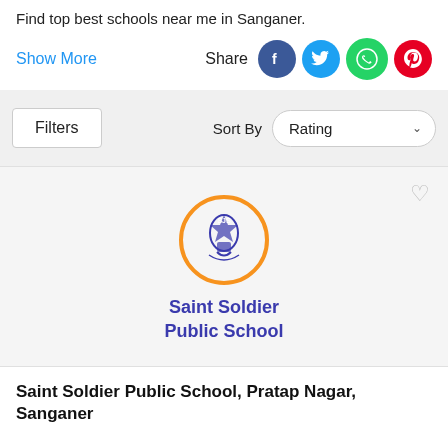Find top best schools near me in Sanganer.
Show More   Share
Filters   Sort By  Rating
[Figure (logo): Saint Soldier Public School circular logo with orange border and blue emblem]
Saint Soldier Public School
Saint Soldier Public School, Pratap Nagar, Sanganer